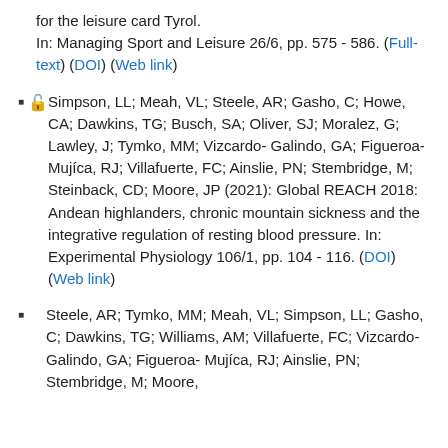for the leisure card Tyrol. In: Managing Sport and Leisure 26/6, pp. 575 - 586. (Full-text) (DOI) (Web link)
Simpson, LL; Meah, VL; Steele, AR; Gasho, C; Howe, CA; Dawkins, TG; Busch, SA; Oliver, SJ; Moralez, G; Lawley, J; Tymko, MM; Vizcardo-Galindo, GA; Figueroa-Mujíca, RJ; Villafuerte, FC; Ainslie, PN; Stembridge, M; Steinback, CD; Moore, JP (2021): Global REACH 2018: Andean highlanders, chronic mountain sickness and the integrative regulation of resting blood pressure. In: Experimental Physiology 106/1, pp. 104 - 116. (DOI) (Web link)
Steele, AR; Tymko, MM; Meah, VL; Simpson, LL; Gasho, C; Dawkins, TG; Williams, AM; Villafuerte, FC; Vizcardo-Galindo, GA; Figueroa-Mujíca, RJ; Ainslie, PN; Stembridge, M; Moore,